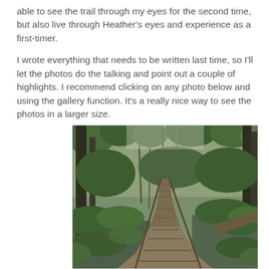able to see the trail through my eyes for the second time, but also live through Heather's eyes and experience as a first-timer.

I wrote everything that needs to be written last time, so I'll let the photos do the talking and point out a couple of highlights. I recommend clicking on any photo below and using the gallery function. It's a really nice way to see the photos in a larger size.
[Figure (photo): A wooden boardwalk trail winding through a lush green wetland forest with standing water on both sides, surrounded by dense green foliage and bare trees in the background.]